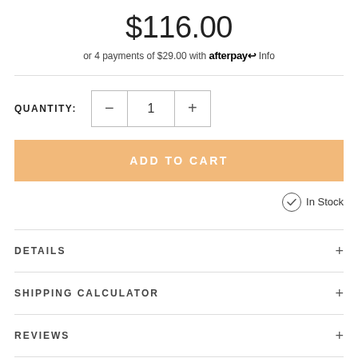$116.00
or 4 payments of $29.00 with afterpay Info
QUANTITY: − 1 +
ADD TO CART
In Stock
DETAILS
SHIPPING CALCULATOR
REVIEWS